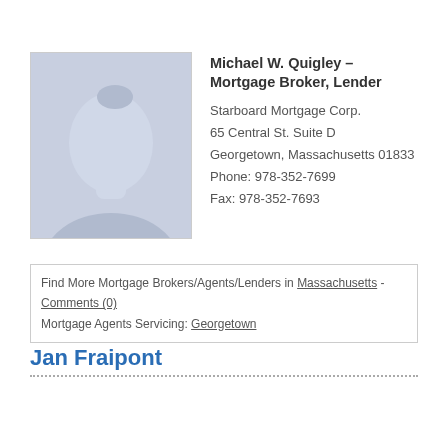[Figure (photo): Placeholder silhouette profile photo of a person with grey background]
Michael W. Quigley – Mortgage Broker, Lender
Starboard Mortgage Corp.
65 Central St. Suite D
Georgetown, Massachusetts 01833
Phone: 978-352-7699
Fax: 978-352-7693
Find More Mortgage Brokers/Agents/Lenders in Massachusetts - Comments (0)
Mortgage Agents Servicing: Georgetown
Jan Fraipont